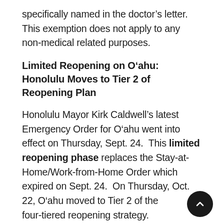specifically named in the doctor's letter. This exemption does not apply to any non-medical related purposes.
Limited Reopening on O'ahu: Honolulu Moves to Tier 2 of Reopening Plan
Honolulu Mayor Kirk Caldwell's latest Emergency Order for O'ahu went into effect on Thursday, Sept. 24. This limited reopening phase replaces the Stay-at-Home/Work-from-Home Order which expired on Sept. 24. On Thursday, Oct. 22, O'ahu moved to Tier 2 of the four-tiered reopening strategy.
Tier 2 eases restrictions for residents and visitors, such as allowing people to dine-in with